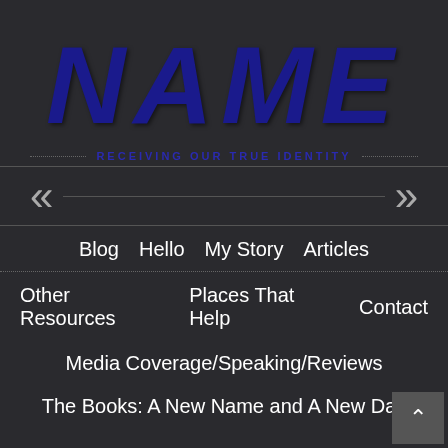NAME
RECEIVING OUR TRUE IDENTITY
[Figure (other): Left double chevron navigation arrow «]
[Figure (other): Right double chevron navigation arrow »]
Blog
Hello
My Story
Articles
Other Resources
Places That Help
Contact
Media Coverage/Speaking/Reviews
The Books: A New Name and A New Day